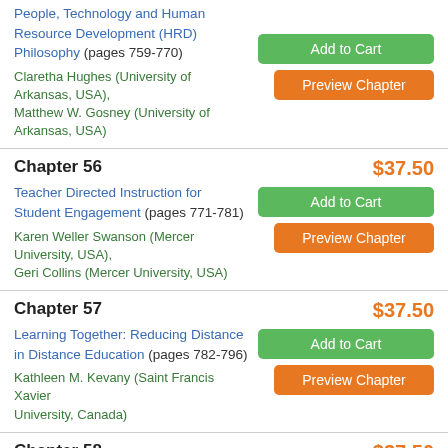People, Technology and Human Resource Development (HRD) Philosophy (pages 759-770)
Claretha Hughes (University of Arkansas, USA), Matthew W. Gosney (University of Arkansas, USA)
Chapter 56 $37.50
Teacher Directed Instruction for Student Engagement (pages 771-781)
Karen Weller Swanson (Mercer University, USA), Geri Collins (Mercer University, USA)
Chapter 57 $37.50
Learning Together: Reducing Distance in Distance Education (pages 782-796)
Kathleen M. Kevany (Saint Francis Xavier University, Canada)
Chapter 58 $37.50
Learner-Centered Technology Integration (pages 797-807)